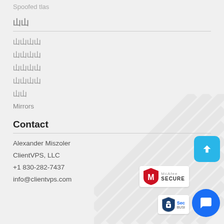Spoofed tlas
00
0000
0000
0000
0000
00
Mirrors
Contact
Alexander Miszoler
ClientVPS, LLC
+1 830-282-7437
info@clientvps.com
[Figure (logo): McAfee Secure badge with red shield and M logo]
[Figure (logo): Secure Business badge with padlock shield]
[Figure (other): Scroll to top button - cyan rounded square with up arrow]
[Figure (other): Live chat button - blue circle with speech bubble icon]